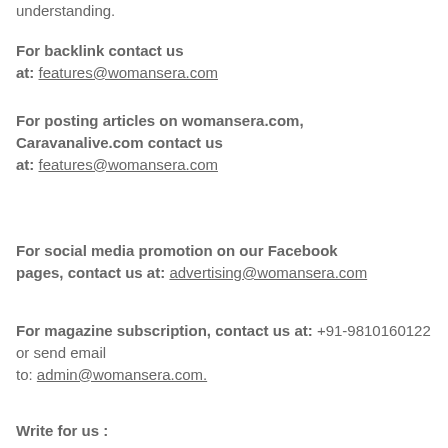understanding.
For backlink contact us at: features@womansera.com
For posting articles on womansera.com, Caravanalive.com contact us at: features@womansera.com
For social media promotion on our Facebook pages, contact us at: advertising@womansera.com
For magazine subscription, contact us at: +91-9810160122 or send email to: admin@womansera.com.
Write for us :